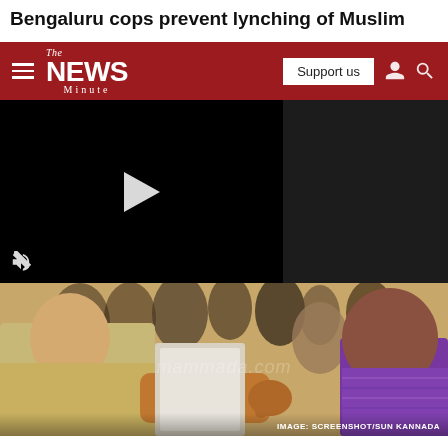Bengaluru cops prevent lynching of Muslim
[Figure (screenshot): The News Minute website navigation bar with dark red background, hamburger menu, The News Minute logo in white, Support us button, user icon and search icon]
[Figure (screenshot): Embedded video player with black background showing a play button and mute icon in bottom left corner]
[Figure (photo): Photograph of a crowd scene with police and civilians, a man in purple polo shirt pointing, police officer in khaki uniform visible. Watermark reading 'mammada.com' visible. Caption reads IMAGE: SCREENSHOT/SUN KANNADA]
IMAGE: SCREENSHOT/SUN KANNADA